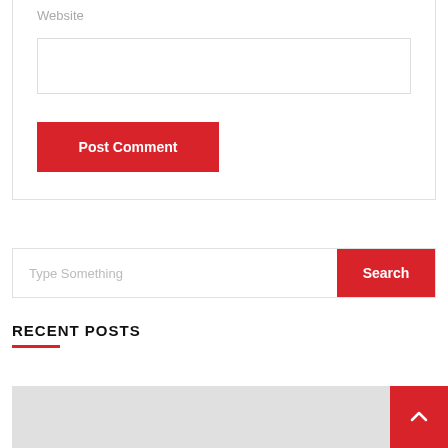Website
[Figure (screenshot): Website text input field (empty)]
[Figure (screenshot): Post Comment button (red background, white text)]
[Figure (screenshot): Search input bar with placeholder text 'Type Something' and red Search button]
RECENT POSTS
[Figure (photo): Gray placeholder image area at the bottom of the page, with a red scroll-to-top button in the bottom right corner]